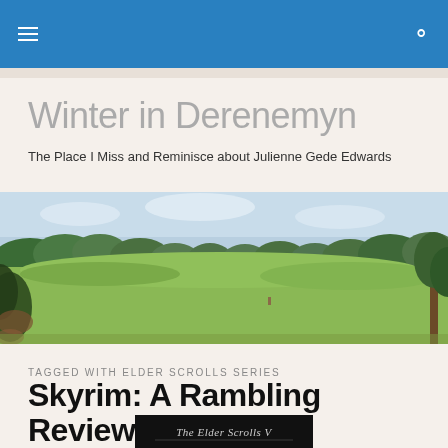Winter in Derenemyn
Winter in Derenemyn
The Place I Miss and Reminisce about Julienne Gede Edwards
[Figure (photo): Wide panorama photograph of a green countryside landscape with trees, blue sky, and open fields]
TAGGED WITH ELDER SCROLLS SERIES
Skyrim: A Rambling Review
[Figure (screenshot): Dark screenshot showing 'The Elder Scrolls V' title text on black background]